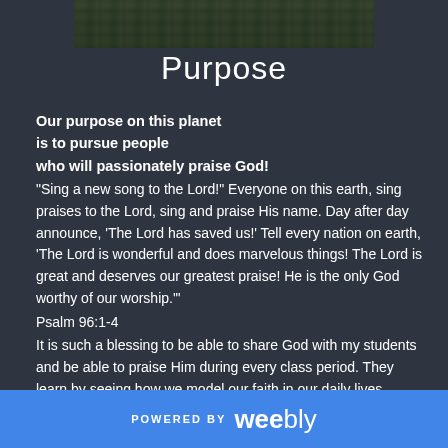[Figure (photo): Dark nature/grass landscape photo banner at top center]
Purpose
Our purpose on this planet
is to pursue people
who will passionately praise God!
"Sing a new song to the Lord!" Everyone on this earth, sing praises to the Lord, sing and praise His name. Day after day announce, 'The Lord has saved us!' Tell every nation on earth, 'The Lord is wonderful and does marvelous things! The Lord is great and deserves our greatest praise! He is the only God worthy of our worship.'"
Psalm 96:1-4
It is such a blessing to be able to share God with my students and be able to praise Him during every class period. They learn by seeing how we model our faith in our daily lives.
POWERED BY weebly